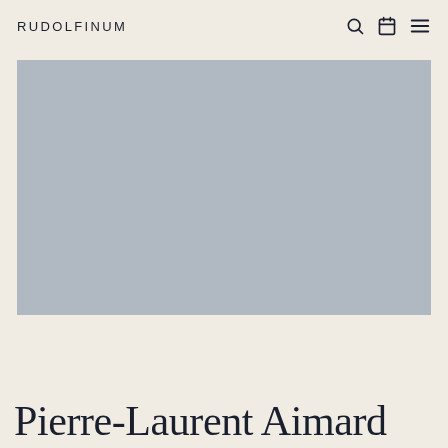RUDOLFINUM
[Figure (photo): Large rectangular placeholder image with grey background, representing a concert or performance photograph]
Pierre-Laurent Aimard